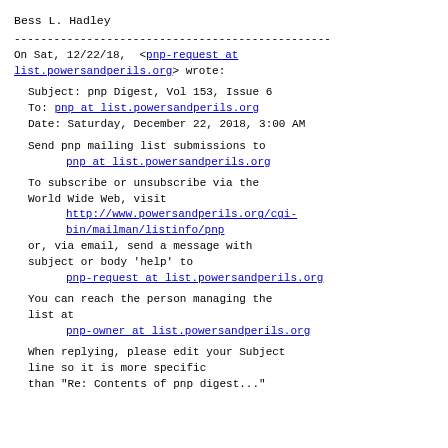Bess L. Hadley
------------------------------------------------
On Sat, 12/22/18,  <pnp-request at list.powersandperils.org> wrote:
Subject: pnp Digest, Vol 153, Issue 6
To: pnp at list.powersandperils.org
Date: Saturday, December 22, 2018, 3:00 AM
Send pnp mailing list submissions to
      pnp at list.powersandperils.org
To subscribe or unsubscribe via the
World Wide Web, visit
      http://www.powersandperils.org/cgi-bin/mailman/listinfo/pnp
or, via email, send a message with
subject or body 'help' to
      pnp-request at list.powersandperils.org
You can reach the person managing the
list at
      pnp-owner at list.powersandperils.org
When replying, please edit your Subject
line so it is more specific
than "Re: Contents of pnp digest..."